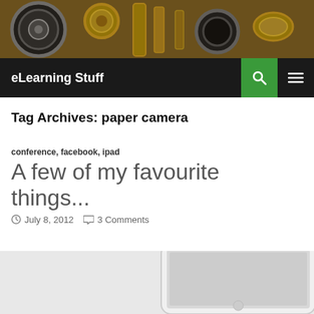[Figure (photo): Header photo of vintage brass scientific instruments and lenses on a wooden surface]
eLearning Stuff
Tag Archives: paper camera
conference, facebook, ipad
A few of my favourite things...
July 8, 2012   3 Comments
[Figure (photo): Partial image of an iPad showing the screen with content]